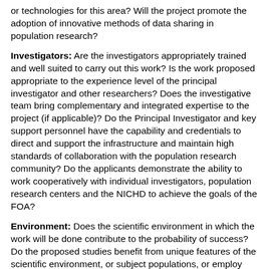or technologies for this area? Will the project promote the adoption of innovative methods of data sharing in population research?
Investigators: Are the investigators appropriately trained and well suited to carry out this work? Is the work proposed appropriate to the experience level of the principal investigator and other researchers? Does the investigative team bring complementary and integrated expertise to the project (if applicable)? Do the Principal Investigator and key support personnel have the capability and credentials to direct and support the infrastructure and maintain high standards of collaboration with the population research community? Do the applicants demonstrate the ability to work cooperatively with individual investigators, population research centers and the NICHD to achieve the goals of the FOA?
Environment: Does the scientific environment in which the work will be done contribute to the probability of success? Do the proposed studies benefit from unique features of the scientific environment, or subject populations, or employ useful collaborative arrangements? Is there evidence of institutional support? Taking into account the institutional context, does the institution in which the infrastructure is